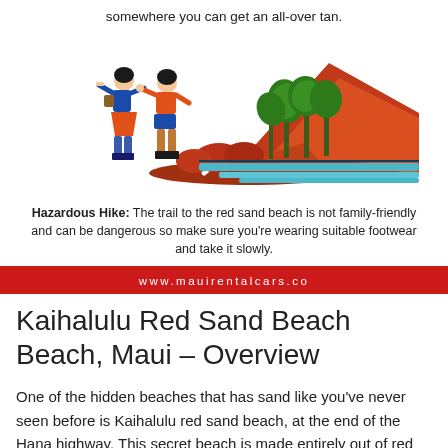somewhere you can get an all-over tan.
[Figure (illustration): Illustration of two hikers (women in colorful clothing) looking at a red sand beach scene with palm trees, red cliffs, and turquoise water.]
Hazardous Hike: The trail to the red sand beach is not family-friendly and can be dangerous so make sure you're wearing suitable footwear and take it slowly.
www.mauirentalcars.co
Kaihalulu Red Sand Beach Beach, Maui – Overview
One of the hidden beaches that has sand like you've never seen before is Kaihalulu red sand beach, at the end of the Hana highway. This secret beach is made entirely out of red sand, which comes from the rust red cliffs